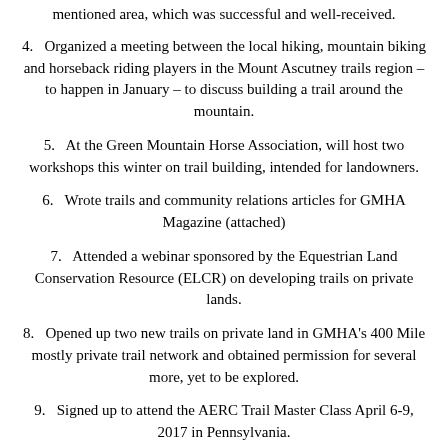mentioned area, which was successful and well-received.
4.   Organized a meeting between the local hiking, mountain biking and horseback riding players in the Mount Ascutney trails region – to happen in January – to discuss building a trail around the mountain.
5.   At the Green Mountain Horse Association, will host two workshops this winter on trail building, intended for landowners.
6.   Wrote trails and community relations articles for GMHA Magazine (attached)
7.   Attended a webinar sponsored by the Equestrian Land Conservation Resource (ELCR) on developing trails on private lands.
8.   Opened up two new trails on private land in GMHA's 400 Mile mostly private trail network and obtained permission for several more, yet to be explored.
9.   Signed up to attend the AERC Trail Master Class April 6-9, 2017 in Pennsylvania.